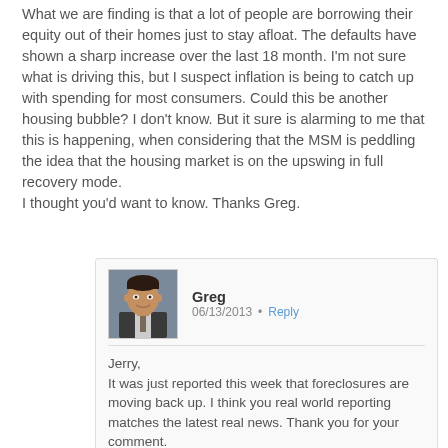What we are finding is that a lot of people are borrowing their equity out of their homes just to stay afloat. The defaults have shown a sharp increase over the last 18 month. I'm not sure what is driving this, but I suspect inflation is being to catch up with spending for most consumers. Could this be another housing bubble? I don't know. But it sure is alarming to me that this is happening, when considering that the MSM is peddling the idea that the housing market is on the upswing in full recovery mode.
I thought you'd want to know. Thanks Greg.
Greg 06/13/2013 • Reply
Jerry,
It was just reported this week that foreclosures are moving back up. I think you real world reporting matches the latest real news. Thank you for your comment.
Greg